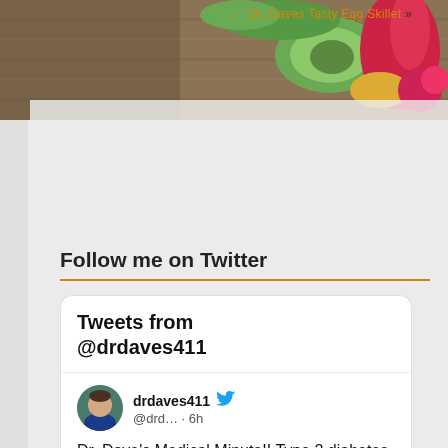Dr. Daves Tasty Egg Skillet »
[Figure (photo): Food background photo showing vegetables including green avocado, radishes, and other colorful produce on a wooden surface]
Follow me on Twitter
Tweets from @drdaves411
Dr. Dave's Medical Minute!! Type 2 diabetes is a CHOICE! High sugar intake shows a strong correlation with diabetes.